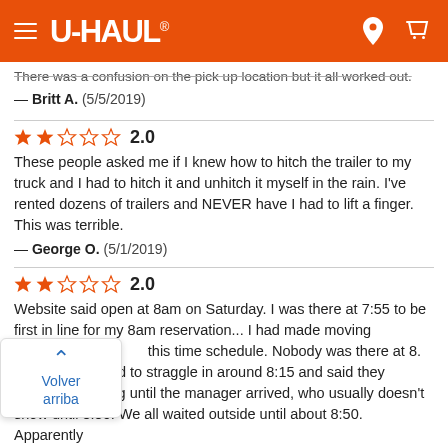U-HAUL
There was a confusion on the pick up location but it all worked out.
— Britt A.  (5/5/2019)
★★☆☆☆ 2.0
These people asked me if I knew how to hitch the trailer to my truck and I had to hitch it and unhitch it myself in the rain. I've rented dozens of trailers and NEVER have I had to lift a finger. This was terrible.
— George O.  (5/1/2019)
★★☆☆☆ 2.0
Website said open at 8am on Saturday. I was there at 7:55 to be first in line for my 8am reservation... I had made moving arrangements [around] this time schedule. Nobody was there at 8. Other [employe]es started to straggle in around 8:15 and said they couldn't [open the] building until the manager arrived, who usually doesn't show until 8:30. We all waited outside until about 8:50. Apparently